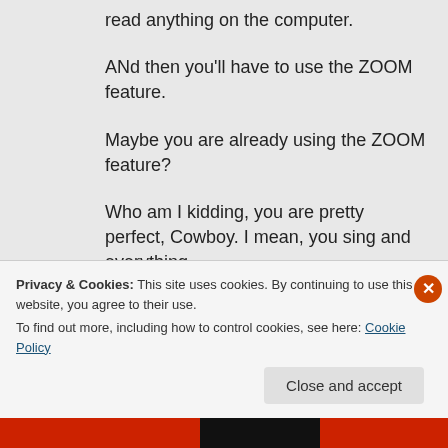read anything on the computer.
ANd then you'll have to use the ZOOM feature.
Maybe you are already using the ZOOM feature?
Who am I kidding, you are pretty perfect, Cowboy. I mean, you sing and everything.
Do you want to enter for someone else in
Privacy & Cookies: This site uses cookies. By continuing to use this website, you agree to their use.
To find out more, including how to control cookies, see here: Cookie Policy
Close and accept